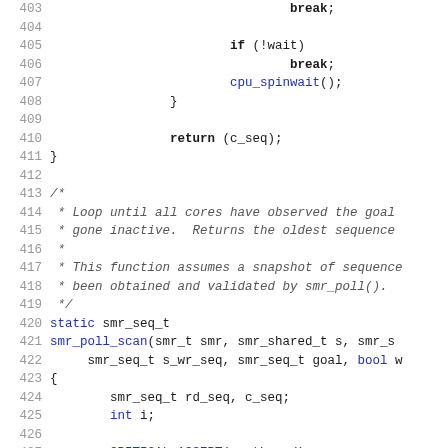[Figure (screenshot): Source code listing showing C code lines 403-432, with syntax highlighting. Blue keywords include 'static', 'int', 'bool', 'CRITICAL_ASSERT', 'counter_u64_add_protected', etc. Gray italic comment lines describe function behavior.]